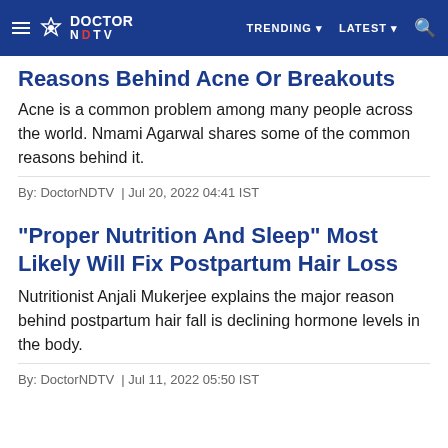DOCTOR NDTV | TRENDING | LATEST
Reasons Behind Acne Or Breakouts
Acne is a common problem among many people across the world. Nmami Agarwal shares some of the common reasons behind it.
By: DoctorNDTV  | Jul 20, 2022 04:41 IST
"Proper Nutrition And Sleep" Most Likely Will Fix Postpartum Hair Loss
Nutritionist Anjali Mukerjee explains the major reason behind postpartum hair fall is declining hormone levels in the body.
By: DoctorNDTV  | Jul 11, 2022 05:50 IST